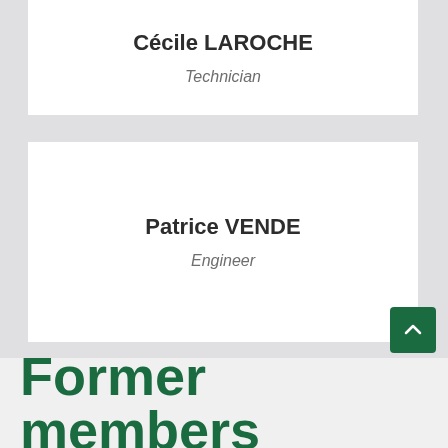Cécile LAROCHE
Technician
Patrice VENDE
Engineer
Former members